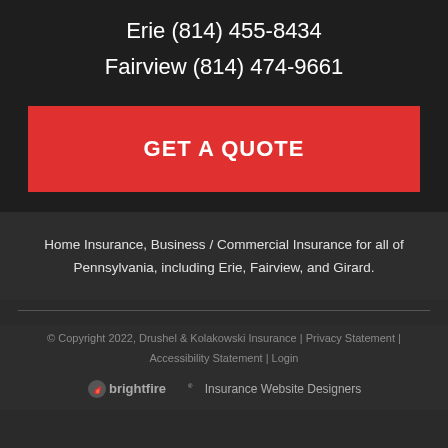Erie (814) 455-8434
Fairview (814) 474-9661
GET A QUOTE
Home Insurance, Business / Commercial Insurance for all of Pennsylvania, including Erie, Fairview, and Girard.
© Copyright 2022, Drushel & Kolakowski Insurance | Privacy Statement | Accessibility Statement | Login
[Figure (logo): BrightFire logo with text 'Insurance Website Designers']